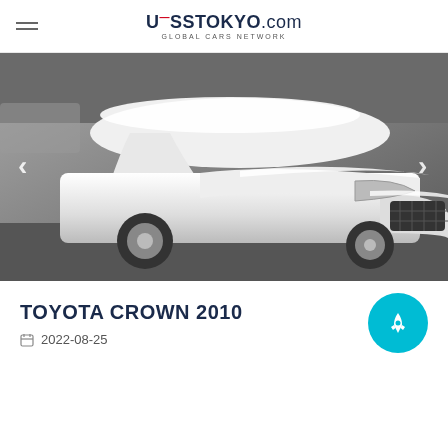UssTokyo.com — Global Cars Network
[Figure (photo): Black and white photo of a white Toyota Crown 2010 sedan covered in snow, front three-quarter view, photographed in a parking lot. Navigation arrows visible on left and right sides.]
TOYOTA CROWN 2010
2022-08-25